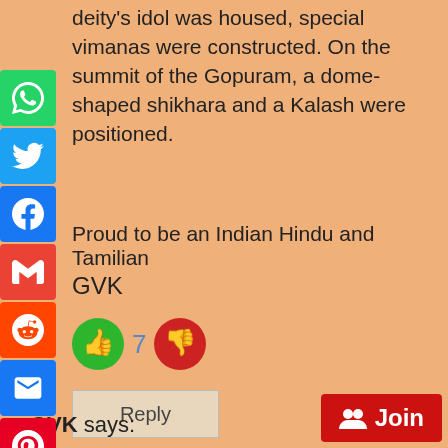deity's idol was housed, special vimanas were constructed. On the summit of the Gopuram, a dome-shaped shikhara and a Kalash were positioned.
Proud to be an Indian Hindu and Tamilian
GVK
[Figure (infographic): Thumbs up (green circle), vote count 7, thumbs down (red circle) icons]
[Figure (infographic): Reply button]
GVK says:
[Figure (infographic): Join button in red with people icon]